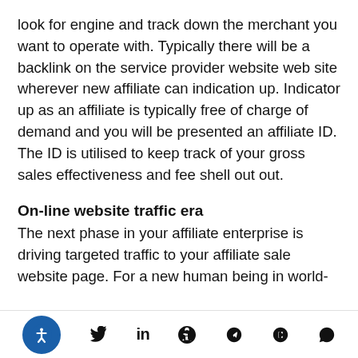look for engine and track down the merchant you want to operate with. Typically there will be a backlink on the service provider website web site wherever new affiliate can indication up. Indicator up as an affiliate is typically free of charge of demand and you will be presented an affiliate ID. The ID is utilised to keep track of your gross sales effectiveness and fee shell out out.
On-line website traffic era
The next phase in your affiliate enterprise is driving targeted traffic to your affiliate sale website page. For a new human being in world-
accessibility twitter linkedin pinterest telegram whatsapp